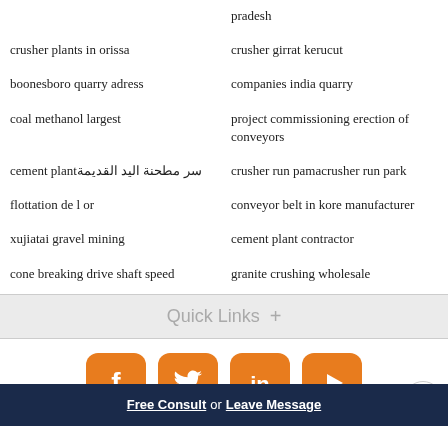pradesh
crusher girrat kerucut
crusher plants in orissa
companies india quarry
boonesboro quarry adress
project commissioning erection of conveyors
coal methanol largest
cement plant سر مطحنة اليد القديمة
crusher run pamacrusher run park
flottation de l or
conveyor belt in kore manufacturer
xujiatai gravel mining
cement plant contractor
cone breaking drive shaft speed
granite crushing wholesale
Quick Links  +
[Figure (infographic): Social media icons: Facebook, Twitter, LinkedIn, YouTube — all orange rounded square buttons]
Free Consult  or  Leave Message